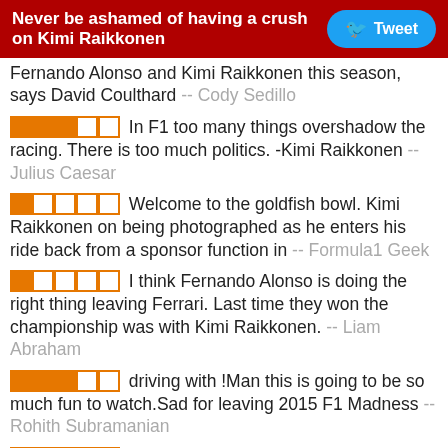Never be ashamed of having a crush on Kimi Raikkonen  Tweet
Fernando Alonso and Kimi Raikkonen this season, says David Coulthard -- Cody Sedillo
[3 stars] In F1 too many things overshadow the racing. There is too much politics. -Kimi Raikkonen -- Julius Caesar
[1 star] Welcome to the goldfish bowl. Kimi Raikkonen on being photographed as he enters his ride back from a sponsor function in -- Formula1 Geek
[1 star] I think Fernando Alonso is doing the right thing leaving Ferrari. Last time they won the championship was with Kimi Raikkonen. -- Liam Abraham
[3 stars] driving with !Man this is going to be so much fun to watch.Sad for leaving 2015 F1 Madness -- Rohith Subramanian
[5 stars] VIDEO: Who is Kimi's best friend in F1?: Ferrari's Kimi Raikkonen tells BBC Sport's Tom Clarkson who his best friend is in Formula 1 ... -- TERRA Nesbitt
[5 stars] He is possibly the most blunt but honest man in -- Rachel Bridge
[1 star] My two favorite drivers, Kimi Raikkonen and Sebastian Vettel will be racing together for the prancing horse. This is